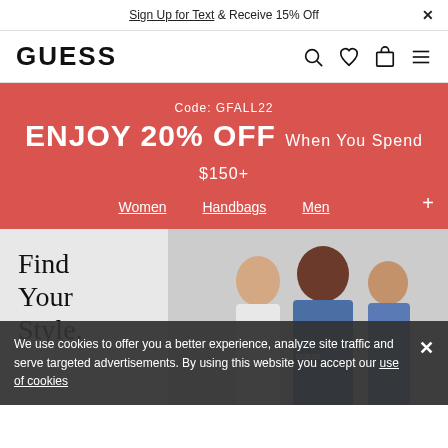Sign Up for Text & Receive 15% Off
[Figure (logo): GUESS brand logo in bold black uppercase letters]
Code: GFALL22
ENJOY 20% OFF When You Spend $150+
Women  Handbags  Men
[Figure (photo): Three male models wearing GUESS clothing including denim jacket, white shirt, and casual wear]
Find Your Style.
We use cookies to offer you a better experience, analyze site traffic and serve targeted advertisements. By using this website you accept our use of cookies